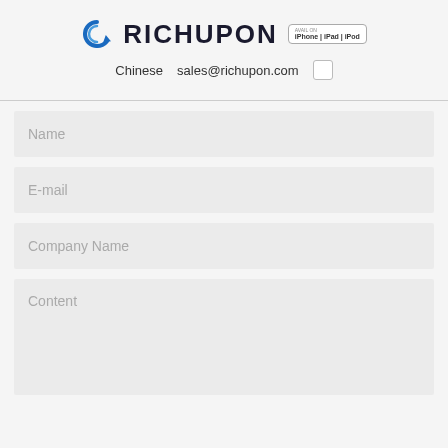[Figure (logo): Richupon logo with blue spinning arrow icon, bold RICHUPON text, and Apple device badge (iPhone | iPad | iPod)]
Chinese  sales@richupon.com  ☐
Name
E-mail
Company Name
Content